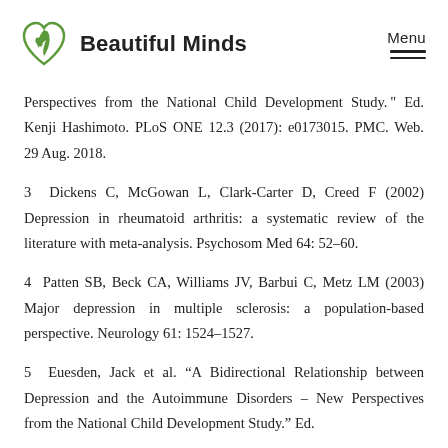Beautiful Minds | Menu
Perspectives from the National Child Development Study." Ed. Kenji Hashimoto. PLoS ONE 12.3 (2017): e0173015. PMC. Web. 29 Aug. 2018.
3 Dickens C, McGowan L, Clark-Carter D, Creed F (2002) Depression in rheumatoid arthritis: a systematic review of the literature with meta-analysis. Psychosom Med 64: 52–60.
4 Patten SB, Beck CA, Williams JV, Barbui C, Metz LM (2003) Major depression in multiple sclerosis: a population-based perspective. Neurology 61: 1524–1527.
5 Euesden, Jack et al. "A Bidirectional Relationship between Depression and the Autoimmune Disorders – New Perspectives from the National Child Development Study." Ed.